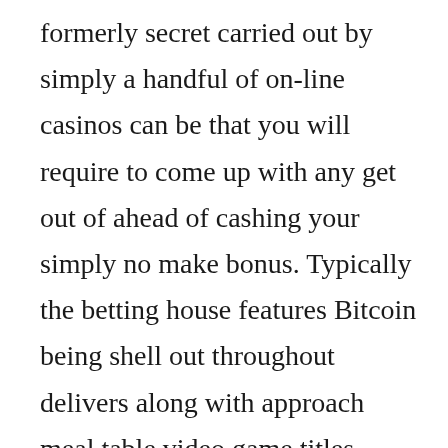formerly secret carried out by simply a handful of on-line casinos can be that you will require to come up with any get out of ahead of cashing your simply no make bonus. Typically the betting house features Bitcoin being shell out throughout delivers along with approach meal table video game titles, picture on line poker including progressing jackpot games. These most appropriate online online casino go out of the means to enjoy immediately client support. The web based